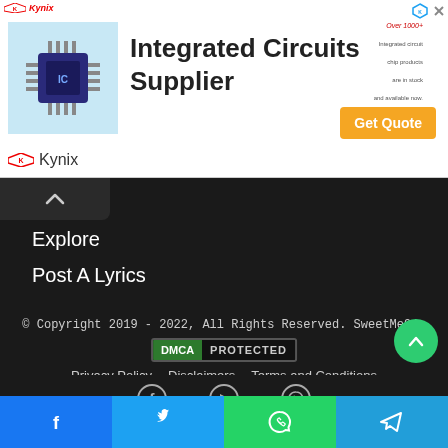[Figure (screenshot): Advertisement banner for Kynix Integrated Circuits Supplier with chip image, 'Get Quote' button, and Kynix logo]
Explore
Post A Lyrics
© Copyright 2019 - 2022, All Rights Reserved. SweetMe9ja
[Figure (logo): DMCA PROTECTED badge]
Privacy Policy   Disclaimers   Terms and Conditions
[Figure (other): Social media icons: Facebook, YouTube, WhatsApp]
Share bar with Facebook, Twitter, WhatsApp, Telegram icons